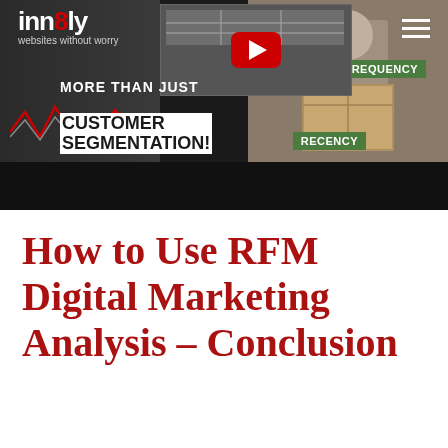[Figure (screenshot): Website screenshot thumbnail showing inn8ly logo with tagline 'websites without worry', a YouTube player area, text 'MORE THAN JUST CUSTOMER SEGMENTATION!', and labels for FREQUENCY and RECENCY on a dark background with a person holding a box on the right side.]
How to Use RFM Digital Marketing Analysis – Conclusion